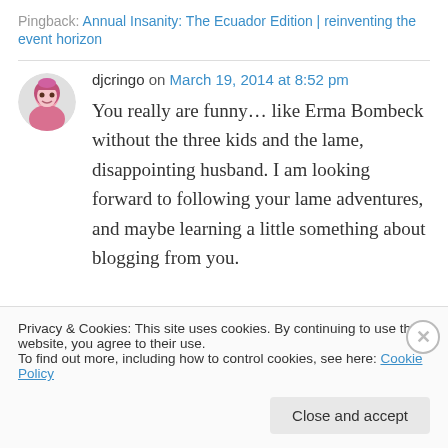Pingback: Annual Insanity: The Ecuador Edition | reinventing the event horizon
djcringo on March 19, 2014 at 8:52 pm
You really are funny… like Erma Bombeck without the three kids and the lame, disappointing husband. I am looking forward to following your lame adventures, and maybe learning a little something about blogging from you.
Privacy & Cookies: This site uses cookies. By continuing to use this website, you agree to their use. To find out more, including how to control cookies, see here: Cookie Policy
Close and accept